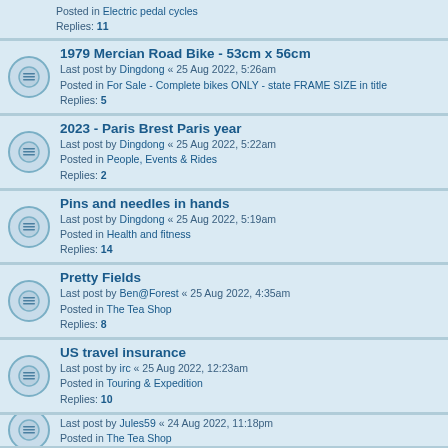Posted in Electric pedal cycles
Replies: 11
1979 Mercian Road Bike - 53cm x 56cm
Last post by Dingdong « 25 Aug 2022, 5:26am
Posted in For Sale - Complete bikes ONLY - state FRAME SIZE in title
Replies: 5
2023 - Paris Brest Paris year
Last post by Dingdong « 25 Aug 2022, 5:22am
Posted in People, Events & Rides
Replies: 2
Pins and needles in hands
Last post by Dingdong « 25 Aug 2022, 5:19am
Posted in Health and fitness
Replies: 14
Pretty Fields
Last post by Ben@Forest « 25 Aug 2022, 4:35am
Posted in The Tea Shop
Replies: 8
US travel insurance
Last post by irc « 25 Aug 2022, 12:23am
Posted in Touring & Expedition
Replies: 10
Top tips and features
Last post by Jules59 « 24 Aug 2022, 11:18pm
Posted in The Tea Shop
Replies: 3